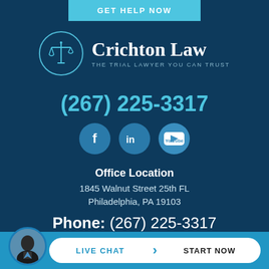GET HELP NOW
[Figure (logo): Crichton Law logo with scales of justice icon and text 'Crichton Law - THE TRIAL LAWYER YOU CAN TRUST']
(267) 225-3317
[Figure (infographic): Social media icons: Facebook, LinkedIn, YouTube]
Office Location
1845 Walnut Street 25th FL
Philadelphia, PA 19103
Phone: (267) 225-3317
LIVE CHAT  START NOW